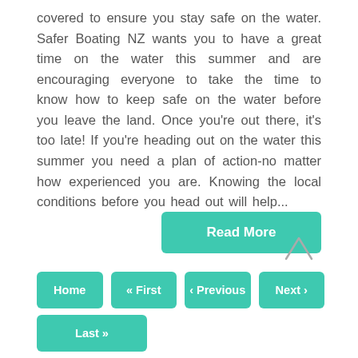covered to ensure you stay safe on the water. Safer Boating NZ wants you to have a great time on the water this summer and are encouraging everyone to take the time to know how to keep safe on the water before you leave the land. Once you're out there, it's too late! If you're heading out on the water this summer you need a plan of action-no matter how experienced you are. Knowing the local conditions before you head out will help...
Read More
Home  « First  ‹ Previous  Next ›  Last »